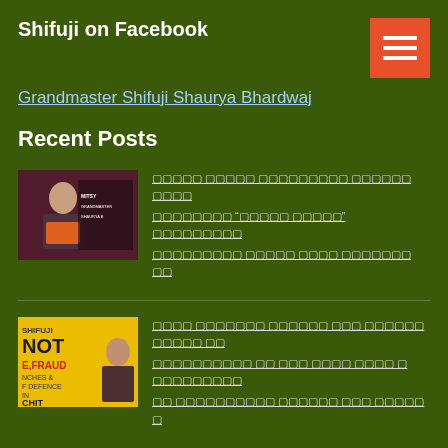Shifuji on Facebook
Grandmaster Shifuji Shaurya Bhardwaj
Recent Posts
[Figure (photo): Photo of Grandmaster Shifuji Shaurya Bhardwaj with text overlay showing MITSY and GRANDMASTER GRANDMASTER SHAURYA B]
[garbled Devanagari/corrupted text post 1 line 1]
[garbled Devanagari/corrupted text post 1 line 2]
[garbled Devanagari/corrupted text post 1 line 3]
[Figure (photo): Image with text: SHIFUJI NOT E,FRAUD NCHES & F DEFENCE IN CHIT on yellow background]
[garbled Devanagari/corrupted text post 2 line 1]
[garbled Devanagari/corrupted text post 2 line 2]
[garbled Devanagari/corrupted text post 2 line 3]